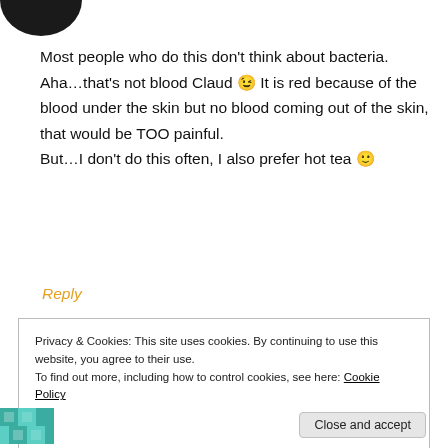[Figure (illustration): Partial circular avatar image, dark colored, cropped at top of page]
Most people who do this don't think about bacteria. Aha…that's not blood Claud 😉 It is red because of the blood under the skin but no blood coming out of the skin, that would be TOO painful.
But…I don't do this often, I also prefer hot tea 🙂
Reply
Privacy & Cookies: This site uses cookies. By continuing to use this website, you agree to their use.
To find out more, including how to control cookies, see here: Cookie Policy
Close and accept
[Figure (logo): Partial teal/green patterned logo at bottom left, cropped]